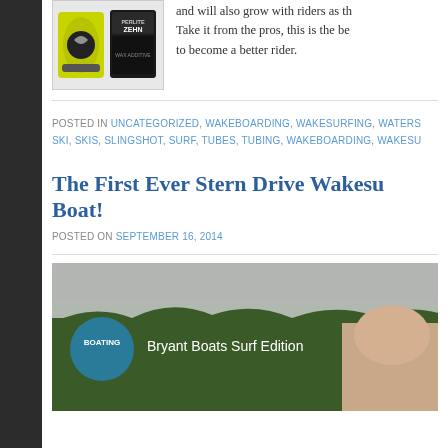[Figure (photo): Product image showing two items: a green wakeboard boot/binding and a black container labeled PERLITE ZEHN]
and will also grow with riders as th... Take it from the pros, this is the be... to become a better rider.
POSTED IN UNCATEGORIZED, WAKEBOARDING, WAKESURFING, WATERSKI, SKIS, SLINGSHOT, SURF, TUBES, TUBING, WAKEBOARDING, WAKESU...
The First Ever Stern Drive Wakesurf Boat!
POSTED ON SEPTEMBER 16, 2014
[Figure (screenshot): Video thumbnail showing Bryant Boats Surf Edition with BOATING logo circle, trees in background and person visible]